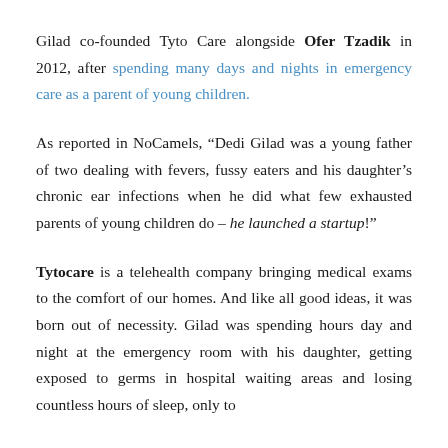Gilad co-founded Tyto Care alongside Ofer Tzadik in 2012, after spending many days and nights in emergency care as a parent of young children.
As reported in NoCamels, “Dedi Gilad was a young father of two dealing with fevers, fussy eaters and his daughter’s chronic ear infections when he did what few exhausted parents of young children do – he launched a startup!”
Tytocare is a telehealth company bringing medical exams to the comfort of our homes. And like all good ideas, it was born out of necessity. Gilad was spending hours day and night at the emergency room with his daughter, getting exposed to germs in hospital waiting areas and losing countless hours of sleep, only to